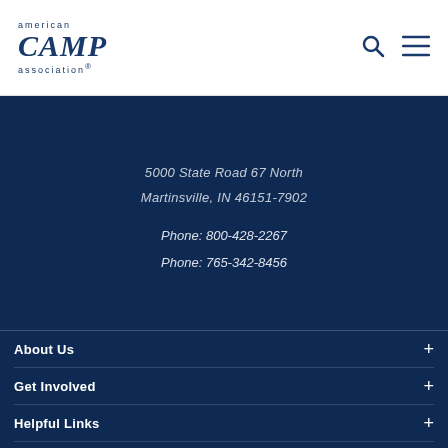american CAMP association
5000 State Road 67 North
Martinsville, IN 46151-7902
Phone: 800-428-2267
Phone: 765-342-8456
About Us
Get Involved
Helpful Links
Stay Informed